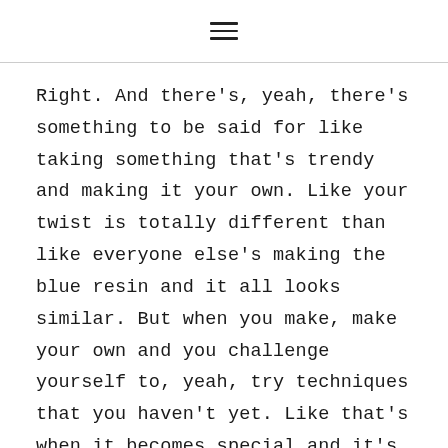☰
Right. And there's, yeah, there's something to be said for like taking something that's trendy and making it your own. Like your twist is totally different than like everyone else's making the blue resin and it all looks similar. But when you make, make your own and you challenge yourself to, yeah, try techniques that you haven't yet. Like that's when it becomes special and it's way more than something that you're seeing around or something that's